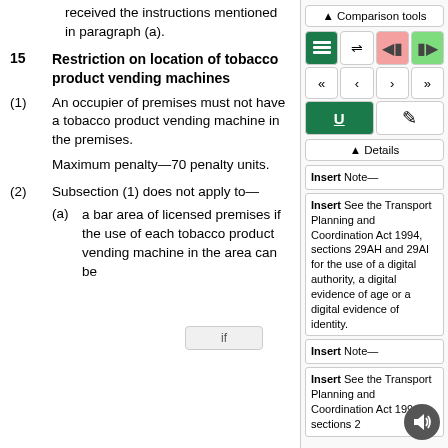received the instructions mentioned in paragraph (a).
15   Restriction on location of tobacco product vending machines
(1)  An occupier of premises must not have a tobacco product vending machine in the premises.
Maximum penalty—70 penalty units.
(2)  Subsection (1) does not apply to—
(a)  a bar area of licensed premises if the use of each tobacco product vending machine in the area can be
[Figure (screenshot): Comparison tools sidebar with toolbar buttons (green, pink, light green), navigation arrows, underline and edit buttons, Details section, and Insert Note boxes with text about Transport Planning and Coordination Act 1994 sections 29AH and 29AI.]